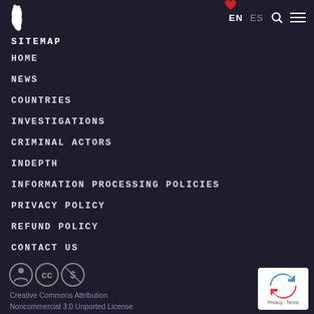EN ES
SITEMAP
HOME
NEWS
COUNTRIES
INVESTIGATIONS
CRIMINAL ACTORS
INDEPTH
INFORMATION PROCESSING POLICIES
PRIVACY POLICY
REFUND POLICY
CONTACT US
[Figure (logo): Creative Commons Attribution Noncommercial icons]
Creative Commons Attribution Noncommercial 3.0 Unported License
[Figure (logo): reCAPTCHA badge with Privacy and Terms text]